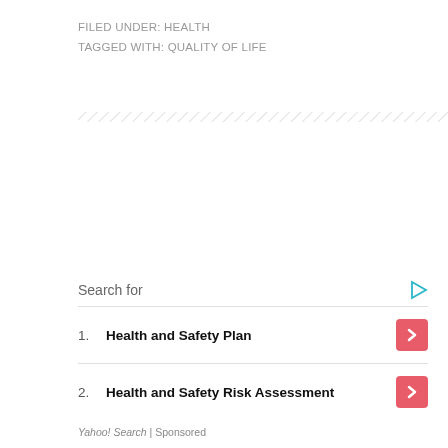FILED UNDER: HEALTH
TAGGED WITH: QUALITY OF LIFE
[Figure (other): Diagonal hatch pattern divider line]
Search for
1. Health and Safety Plan
2. Health and Safety Risk Assessment
Yahoo! Search | Sponsored